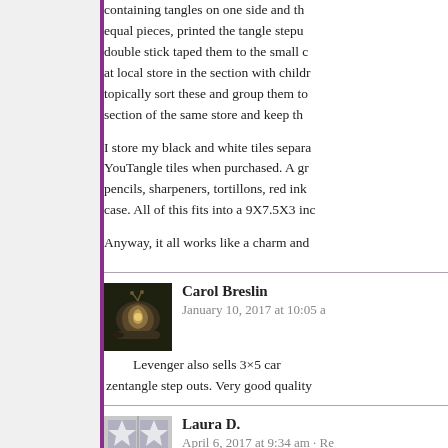containing tangles on one side and th... equal pieces, printed the tangle stepu... double stick taped them to the small c... at local store in the section with childr... topically sort these and group them to... section of the same store and keep th...

I store my black and white tiles separa... YouTangle tiles when purchased. A gr... pencils, sharpeners, tortillons, red ink... case. All of this fits into a 9X7.5X3 inc...

Anyway, it all works like a charm and ...
Carol Breslin
January 10, 2017 at 10:05 a...
Levenger also sells 3×5 car... zentangle step outs. Very good quality...
Laura D.
April 6, 2017 at 9:34 am · Re...
Reading all these suggestio... have hoarded over the last 6 months ... some plastic 'Ultra Pro 9-pocket page... on plastic dividers with pockets, and s... you could print the finished tangle in t... on the plastic sheets. The composition... page numbers and then you could pu...